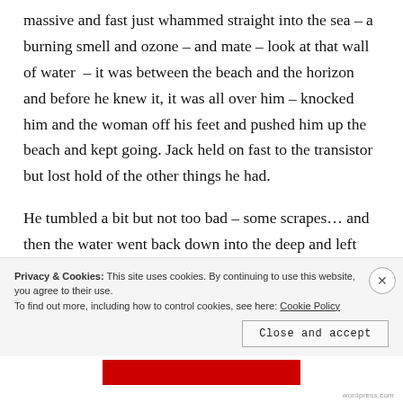massive and fast just whammed straight into the sea – a burning smell and ozone – and mate – look at that wall of water  – it was between the beach and the horizon and before he knew it, it was all over him – knocked him and the woman off his feet and pushed him up the beach and kept going. Jack held on fast to the transistor but lost hold of the other things he had.
He tumbled a bit but not too bad – some scrapes… and then the water went back down into the deep and left
Privacy & Cookies: This site uses cookies. By continuing to use this website, you agree to their use.
To find out more, including how to control cookies, see here: Cookie Policy
Close and accept